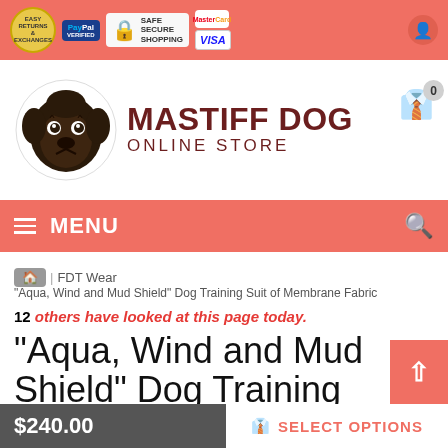[Figure (screenshot): Top navigation bar with trust badges: Easy Returns & Exchanges seal, PayPal Verified badge, Safe Secure Shopping lock badge, MasterCard and VISA logos, and a user icon on the right. Background is coral/salmon color.]
[Figure (logo): Mastiff Dog Online Store logo with a mastiff dog head illustration and text MASTIFF DOG ONLINE STORE in dark red/maroon.]
[Figure (screenshot): Coral menu bar with hamburger icon, MENU text, and search icon on right. Cart icon with 0 badge in logo area.]
FDT Wear
"Aqua, Wind and Mud Shield" Dog Training Suit of Membrane Fabric
12 others have looked at this page today.
"Aqua, Wind and Mud Shield" Dog Training Suit o
$240.00
SELECT OPTIONS